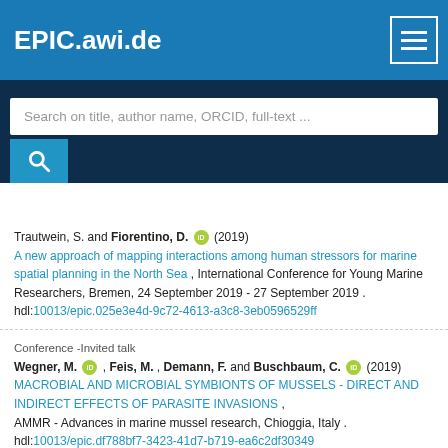EPIC.awi.de
Search on title, author name, ORCID, full-text ...
Trautwein, S. and Fiorentino, D. (2019)
A new approach of mapping interactions among human stressors for marine spatial planning in the North Sea , International Conference for Young Marine Researchers, Bremen, 24 September 2019 - 27 September 2019 .
hdl:10013/epic.025e3e4d-9c72-4613-a3c8-3eb0596529ff
Conference -Invited talk
Wegner, M., Feis, M. , Demann, F. and Buschbaum, C. (2019)
MACROBIAL AND MICROBIAL SYMBIONTS OF MUSSELS - DIRECT AND INDIRECT EFFECTS OF PARASITE INVASIONS ,
AMMR - Advances in marine mussel research, Chioggia, Italy .
hdl:10013/epic.df788bf7-3423-41d7-b719-ea6c2df30349
Article
Martinez-Alarcon, D., Saborowski, R., Melis, E. and Hagen, W. (2019)